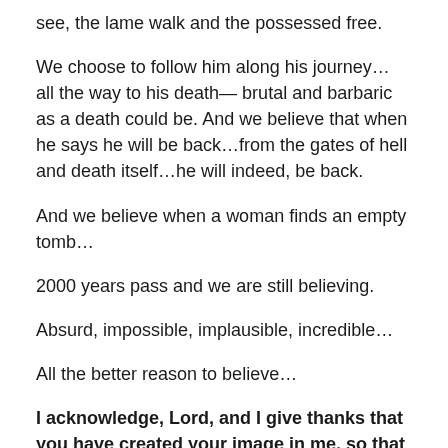see, the lame walk and the possessed free.
We choose to follow him along his journey… all the way to his death— brutal and barbaric as a death could be. And we believe that when he says he will be back…from the gates of hell and death itself…he will indeed, be back.
And we believe when a woman finds an empty tomb…
2000 years pass and we are still believing.
Absurd, impossible, implausible, incredible…
All the better reason to believe…
I acknowledge, Lord, and I give thanks that you have created your image in me, so that I may remember you, think of you, love you. But this image is so obliterated and worn away by wickedness, it is so